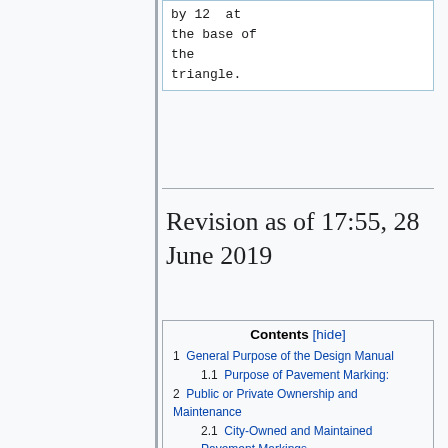| by 12  at |
| the base of |
| the |
| triangle. |
Revision as of 17:55, 28 June 2019
| Contents [hide] |
| --- |
| 1 | General Purpose of the Design Manual |
| 1.1 | Purpose of Pavement Marking: |
| 2 | Public or Private Ownership and Maintenance |
| 2.1 | City-Owned and Maintained Pavement Markings |
| 2.2 | Privately Owned and Maintained Pavement Markings |
| 3 | Functional Roadway Classifications |
| 3.1 | Thoroughfare Roadway |